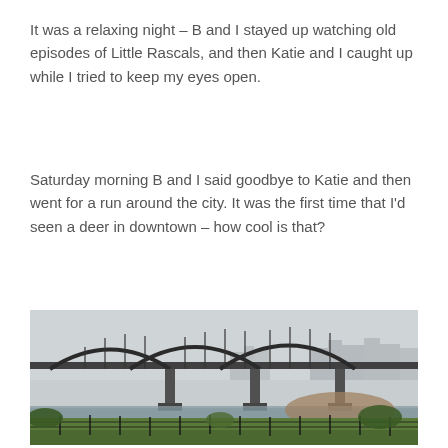It was a relaxing night – B and I stayed up watching old episodes of Little Rascals, and then Katie and I caught up while I tried to keep my eyes open.
Saturday morning B and I said goodbye to Katie and then went for a run around the city. It was the first time that I'd seen a deer in downtown – how cool is that?
[Figure (photo): Overcast daytime photo of a large arch bridge spanning a river, with city buildings visible in the background and green vegetation in the foreground. The sky is grey and hazy.]